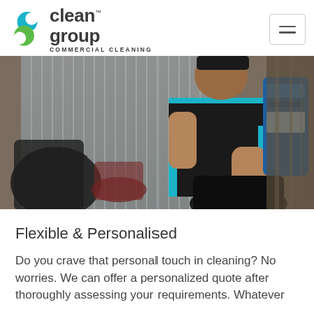clean group COMMERCIAL CLEANING
[Figure (photo): A male commercial cleaner in a black uniform with blue trim carrying a blue backpack cleaning machine, working in an office environment with venetian blinds and chairs visible in the background.]
Flexible & Personalised
Do you crave that personal touch in cleaning? No worries. We can offer a personalized quote after thoroughly assessing your requirements. Whatever